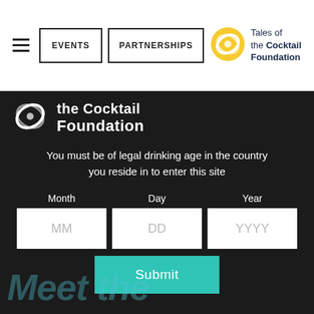EVENTS | PARTNERSHIPS | Tales of the Cocktail Foundation
[Figure (logo): Tales of the Cocktail Foundation logo with circular swirl icon and text]
You must be of legal drinking age in the country you reside in to enter this site
Month | Day | Year
MM | DD | YYYY
Submit
Meet the